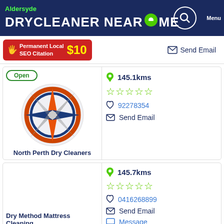Aldersyde DRYCLEANER NEAR ME
[Figure (infographic): Advertisement banner: Permanent Local SEO Citation $10, Send Email]
[Figure (logo): Compass/wind-rose logo for North Perth Dry Cleaners, showing Open badge]
North Perth Dry Cleaners
145.1kms
92278354
Send Email
Dry Method Mattress Cleaning
145.7kms
0416268899
Send Email
Message